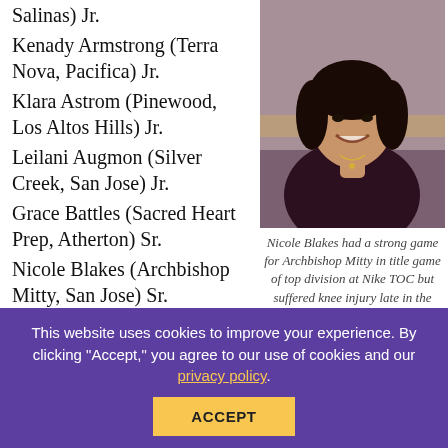Salinas) Jr.
Kenady Armstrong (Terra Nova, Pacifica) Jr.
Klara Astrom (Pinewood, Los Altos Hills) Jr.
Leilani Augmon (Silver Creek, San Jose) Jr.
Grace Battles (Sacred Heart Prep, Atherton) Sr.
Nicole Blakes (Archbishop Mitty, San Jose) Sr.
Giselle Broussard (Mountain View Academy, Mountain View) Jr.
[Figure (photo): Photo of Nicole Blakes, a young woman smiling, wearing a dark maroon long-sleeve top with a small necklace, against a blurred background.]
Nicole Blakes had a strong game for Archbishop Mitty in title game of top division at Nike TOC but suffered knee injury late in the season and
This website uses cookies to improve your experience. By clicking "Accept," you agree to our use of cookies and our privacy policy.
ACCEPT